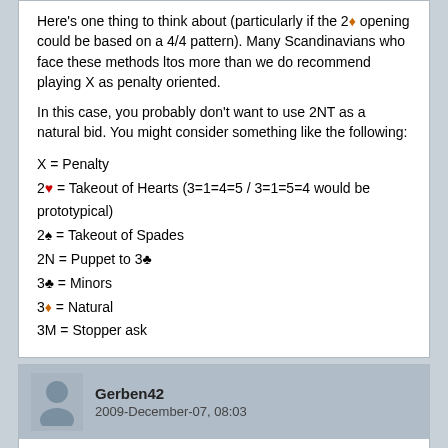Here's one thing to think about (particularly if the 2♦ opening could be based on a 4/4 pattern). Many Scandinavians who face these methods ltos more than we do recommend playing X as penalty oriented.
In this case, you probably don't want to use 2NT as a natural bid. You might consider something like the following:
X = Penalty
2♥ = Takeout of Hearts (3=1=4=5 / 3=1=5=4 would be prototypical)
2♠ = Takeout of Spades
2N = Puppet to 3♣
3♣ = Minors
3♦ = Natural
3M = Stopper ask
Gerben42
2009-December-07, 08:03
Since it is known that some would open 2♦ with four small in one suit, I prefer:
Dbl = "points"